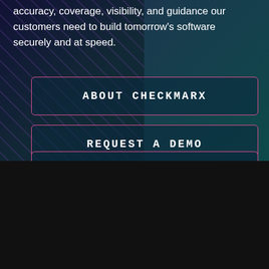accuracy, coverage, visibility, and guidance our customers need to build tomorrow's software securely and at speed.
[Figure (screenshot): ABOUT CHECKMARX button with pink border on dark teal background with purple diagonal stripe pattern]
[Figure (screenshot): REQUEST A DEMO button with pink border on dark teal background with purple diagonal stripe pattern]
This website uses cookies to maximize your experience on our website. By continuing on our website, you consent to our use of cookies. To find out more about how we use cookies, please see our Cookie Policy.
I Accept
Reject All